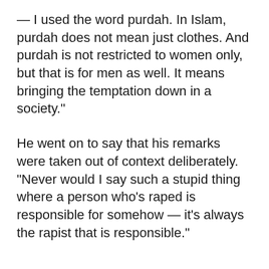— I used the word purdah. In Islam, purdah does not mean just clothes. And purdah is not restricted to women only, but that is for men as well. It means bringing the temptation down in a society."
He went on to say that his remarks were taken out of context deliberately. "Never would I say such a stupid thing where a person who's raped is responsible for somehow — it's always the rapist that is responsible."